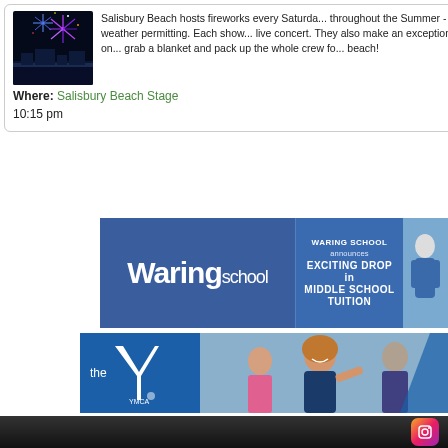Salisbury Beach hosts fireworks every Saturday throughout the Summer - weather permitting. Each show is paired with a live concert. They also make an exception on... grab a blanket and pack up the whole crew for a night at the beach!
Where: Salisbury Beach Stage
10:15 pm
[Figure (photo): Fireworks over Salisbury Beach at night with colorful explosion in sky]
[Figure (photo): Waring School advertisement banner: blue background with 'Waring school' in large text on left, and text 'WARING SCHOOL announces EXCITING DROP in MIDDLE SCHOOL TUITION' on right panel with photo of person]
[Figure (photo): YMCA advertisement banner: blue background with YMCA logo 'the Y' on left and smiling woman fitness photo on right]
[Figure (photo): Instagram icon in footer bar]